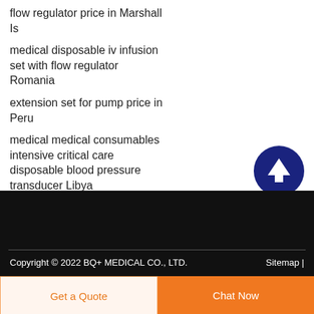flow regulator price in Marshall Is
medical disposable iv infusion set with flow regulator Romania
extension set for pump price in Peru
medical medical consumables intensive critical care disposable blood pressure transducer Libya
Copyright © 2022 BQ+ MEDICAL CO., LTD.    Sitemap |
Get a Quote
Chat Now